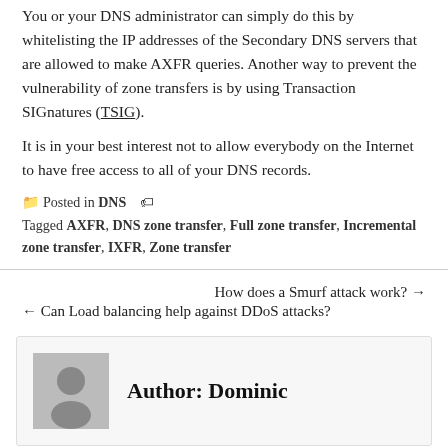You or your DNS administrator can simply do this by whitelisting the IP addresses of the Secondary DNS servers that are allowed to make AXFR queries. Another way to prevent the vulnerability of zone transfers is by using Transaction SIGnatures (TSIG).
It is in your best interest not to allow everybody on the Internet to have free access to all of your DNS records.
Posted in DNS  Tagged AXFR, DNS zone transfer, Full zone transfer, Incremental zone transfer, IXFR, Zone transfer
How does a Smurf attack work? →
← Can Load balancing help against DDoS attacks?
Author: Dominic
Leave a Reply
Your email address will not be published. Required fields are